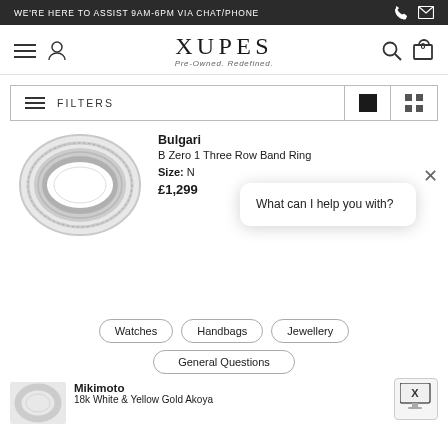WE'RE HERE TO ASSIST 9AM-6PM VIA CHAT/PHONE
[Figure (logo): XUPES Pre-Owned. Redefined. logo]
[Figure (screenshot): Filter bar with hamburger icon and FILTERS label, list and grid view toggle buttons]
[Figure (photo): Bulgari B Zero 1 Three Row Band Ring silver ring photo]
Bulgari
B Zero 1 Three Row Band Ring
Size: N
£1,299
What can I help you with?
Watches
Handbags
Jewellery
General Questions
Mikimoto
18k White & Yellow Gold Akoya